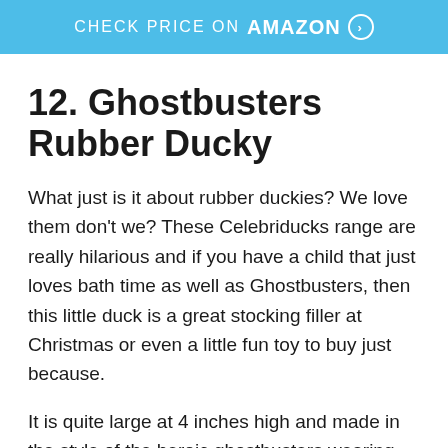[Figure (other): Blue Amazon 'Check Price on Amazon' banner button with arrow circle icon]
12. Ghostbusters Rubber Ducky
What just is it about rubber duckies? We love them don't we? These Celebriducks range are really hilarious and if you have a child that just loves bath time as well as Ghostbusters, then this little duck is a great stocking filler at Christmas or even a little fun toy to buy just because.
It is quite large at 4 inches high and made in the style of the heroic ghostbusters wearing his uniform, goggles and proton pack. Quirky and funny, this rubber duckie is sure to raise